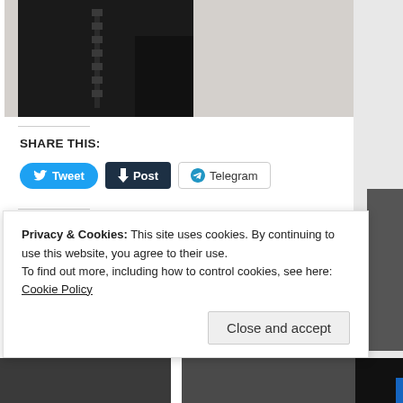[Figure (photo): Person wearing black leather jacket, partial torso view, black and white photo]
SHARE THIS:
Tweet  Post  Telegram
LIKE THIS:
Like
Privacy & Cookies: This site uses cookies. By continuing to use this website, you agree to their use.
To find out more, including how to control cookies, see here:
Cookie Policy
Close and accept
[Figure (photo): Two small thumbnail photos at the bottom of the page]